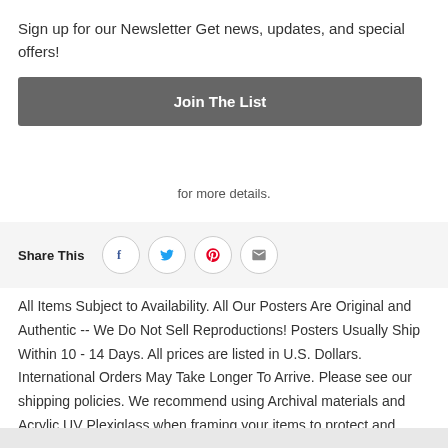×
Sign up for our Newsletter Get news, updates, and special offers!
Join The List
for more details.
[Figure (infographic): Share This bar with Facebook, Twitter, Pinterest, and Email icon buttons]
All Items Subject to Availability. All Our Posters Are Original and Authentic -- We Do Not Sell Reproductions! Posters Usually Ship Within 10 - 14 Days. All prices are listed in U.S. Dollars. International Orders May Take Longer To Arrive. Please see our shipping policies. We recommend using Archival materials and Acrylic UV Plexiglass when framing your items to protect and preserve your vintage movie posters.